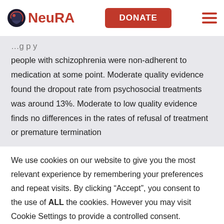[Figure (logo): NeuRA logo with stylized head icon and red NeuRA text, plus DONATE button and hamburger menu]
people with schizophrenia were non-adherent to medication at some point. Moderate quality evidence found the dropout rate from psychosocial treatments was around 13%. Moderate to low quality evidence finds no differences in the rates of refusal of treatment or premature termination
We use cookies on our website to give you the most relevant experience by remembering your preferences and repeat visits. By clicking “Accept”, you consent to the use of ALL the cookies. However you may visit Cookie Settings to provide a controlled consent.